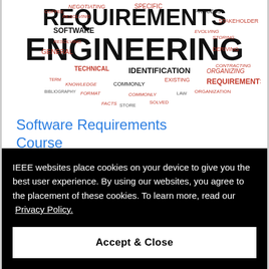[Figure (illustration): Word cloud image about Requirements Engineering, featuring large bold text 'REQUIREMENTS' and 'ENGINEERING' with many related terms in various sizes and colors (red and black), including words like SOFTWARE, STAKEHOLDER, IDENTIFICATION, PROCESS, STORE, GENERAL, DERIVING, REQUIREMENTS, etc.]
Software Requirements Course
IEEE websites place cookies on your device to give you the best user experience. By using our websites, you agree to the placement of these cookies. To learn more, read our Privacy Policy.